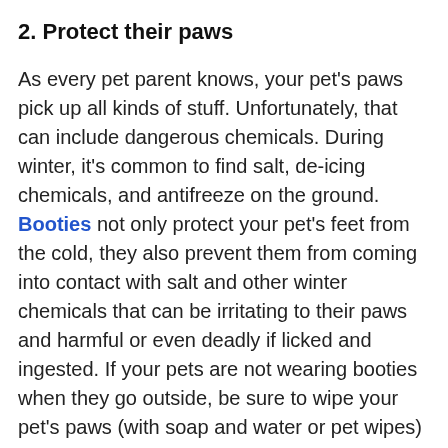2. Protect their paws
As every pet parent knows, your pet's paws pick up all kinds of stuff. Unfortunately, that can include dangerous chemicals. During winter, it's common to find salt, de-icing chemicals, and antifreeze on the ground. Booties not only protect your pet's feet from the cold, they also prevent them from coming into contact with salt and other winter chemicals that can be irritating to their paws and harmful or even deadly if licked and ingested. If your pets are not wearing booties when they go outside, be sure to wipe your pet's paws (with soap and water or pet wipes) immediately after they come inside to prevent them from licking and ingesting any dangerous chemicals and keep them from tracking these around the house.